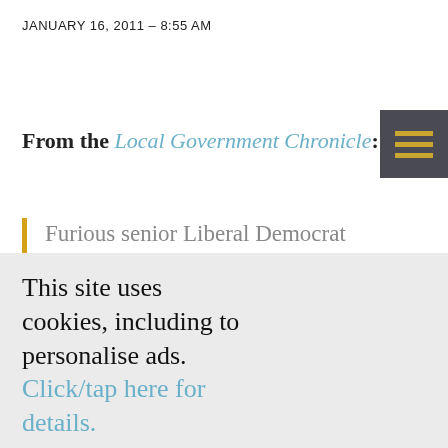JANUARY 16, 2011 - 8:55 AM
From the Local Government Chronicle:
Furious senior Liberal Democrat councillors have labelled communities secretary Eric Pickles “incompetent”, called for the abolition of his department, and urged the sector to
This site uses cookies, including to personalise ads. Click/tap here for details.
I’m happy to visit site